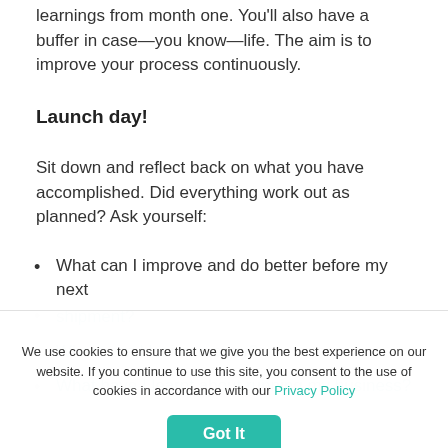learnings from month one. You'll also have a buffer in case—you know—life. The aim is to improve your process continuously.
Launch day!
Sit down and reflect back on what you have accomplished. Did everything work out as planned? Ask yourself:
What can I improve and do better before my next shipment?
[faded list item]
What have I learnt about running my business?